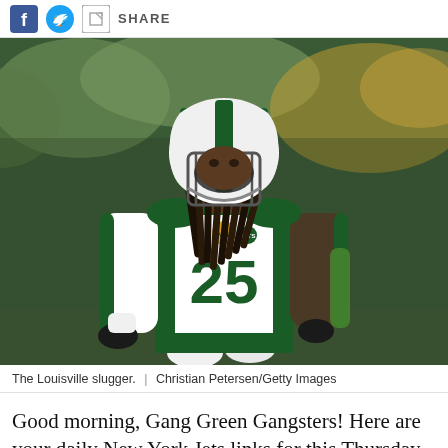SHARE
[Figure (photo): NFL player wearing New York Jets white jersey number 25 with green lettering, wearing a white helmet with green stripe, with dreadlocks, on a football field with blurred crowd background]
The Louisville slugger.  |  Christian Petersen/Getty Images
Good morning, Gang Green Gangsters! Here are your daily New York Jets links for this Thursday...